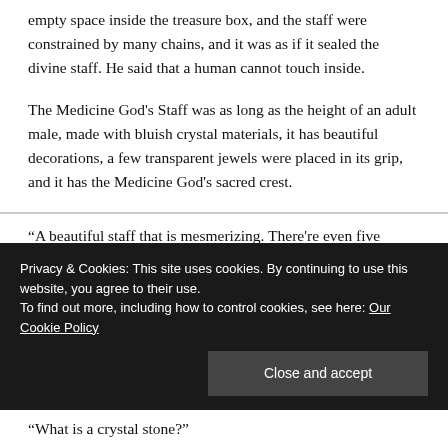empty space inside the treasure box, and the staff were constrained by many chains, and it was as if it sealed the divine staff. He said that a human cannot touch inside.
The Medicine God’s Staff was as long as the height of an adult male, made with bluish crystal materials, it has beautiful decorations, a few transparent jewels were placed in its grip, and it has the Medicine God’s sacred crest.
“A beautiful staff that is mesmerizing. There’re even five transparent crystal stones”
Privacy & Cookies: This site uses cookies. By continuing to use this website, you agree to their use.
To find out more, including how to control cookies, see here: Our Cookie Policy
“What is a crystal stone?”